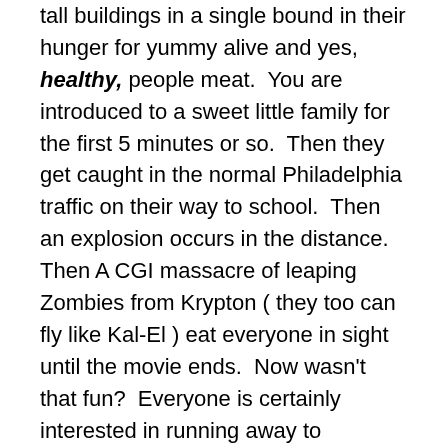tall buildings in a single bound in their hunger for yummy alive and yes, healthy, people meat. You are introduced to a sweet little family for the first 5 minutes or so. Then they get caught in the normal Philadelphia traffic on their way to school. Then an explosion occurs in the distance. Then A CGI massacre of leaping Zombies from Krypton ( they too can fly like Kal-El ) eat everyone in sight until the movie ends. Now wasn't that fun? Everyone is certainly interested in running away to whatever safe place they may find, and offshore on safe-haven air-craft carriers, the military and surviving government officials are trying to figure out a cure…………well of course they are!
Brad's character and his family have some elite contacts which feel he is quite important for some unexplained reason other than him once working for the UN. So they figure out a way to fly through the Chaos and save Brad,